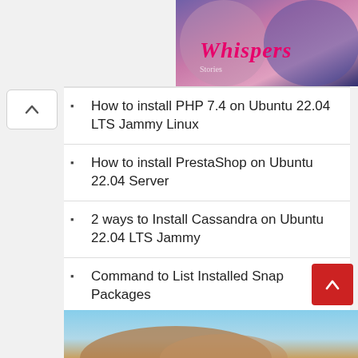[Figure (photo): Colorful game/app promotional image with 'Whispers' text in pink italic font, showing romantic illustrated characters]
How to install PHP 7.4 on Ubuntu 22.04 LTS Jammy Linux
How to install PrestaShop on Ubuntu 22.04 Server
2 ways to Install Cassandra on Ubuntu 22.04 LTS Jammy
Command to List Installed Snap Packages
[Figure (photo): Partial bottom image showing a sky and landscape scene, partially cropped]